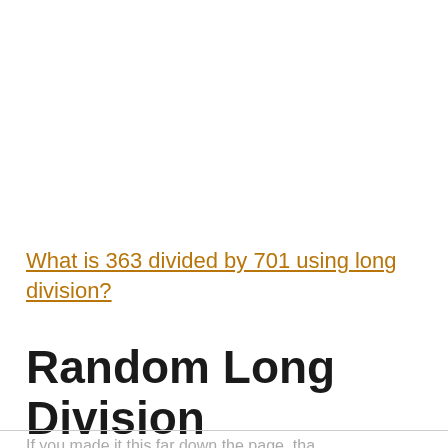What is 363 divided by 701 using long division?
Random Long Division Problems
If you made it this far down the page, that...